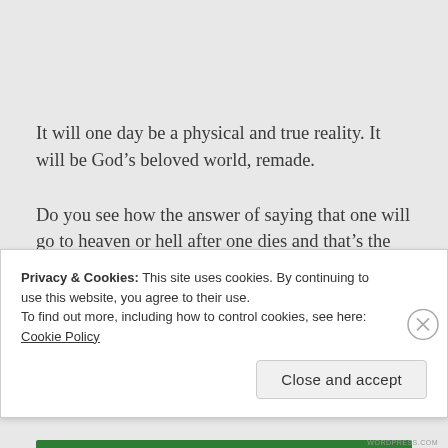It will one day be a physical and true reality. It will be God’s beloved world, remade.
Do you see how the answer of saying that one will go to heaven or hell after one dies and that’s the bottom line is not only simplistic and easy, but a bit
Privacy & Cookies: This site uses cookies. By continuing to use this website, you agree to their use.
To find out more, including how to control cookies, see here: Cookie Policy